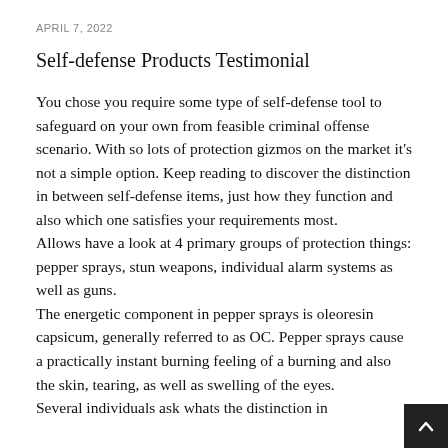APRIL 7, 2022
Self-defense Products Testimonial
You chose you require some type of self-defense tool to safeguard on your own from feasible criminal offense scenario. With so lots of protection gizmos on the market it's not a simple option. Keep reading to discover the distinction in between self-defense items, just how they function and also which one satisfies your requirements most.
Allows have a look at 4 primary groups of protection things: pepper sprays, stun weapons, individual alarm systems as well as guns.
The energetic component in pepper sprays is oleoresin capsicum, generally referred to as OC. Pepper sprays cause a practically instant burning feeling of a burning and also the skin, tearing, as well as swelling of the eyes.
Several individuals ask whats the distinction in